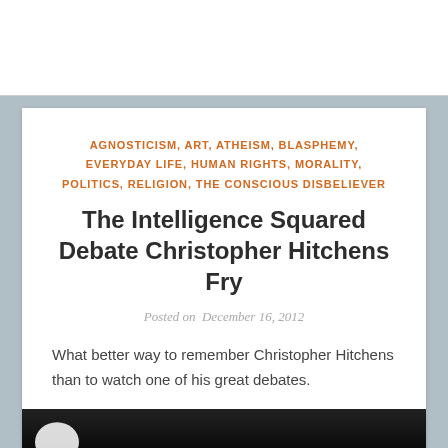AGNOSTICISM, ART, ATHEISM, BLASPHEMY, EVERYDAY LIFE, HUMAN RIGHTS, MORALITY, POLITICS, RELIGION, THE CONSCIOUS DISBELIEVER
The Intelligence Squared Debate Christopher Hitchens Fry
Posted on December 16, 2012
What better way to remember Christopher Hitchens than to watch one of his great debates.
[Figure (photo): Dark thumbnail image strip at the bottom of the card, showing a partial white figure/shape against a black background.]